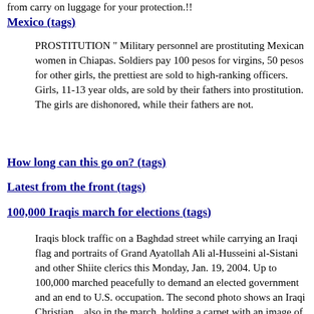from carry on luggage for your protection.!!
Mexico (tags)
PROSTITUTION " Military personnel are prostituting Mexican women in Chiapas. Soldiers pay 100 pesos for virgins, 50 pesos for other girls, the prettiest are sold to high-ranking officers. Girls, 11-13 year olds, are sold by their fathers into prostitution. The girls are dishonored, while their fathers are not.
How long can this go on? (tags)
Latest from the front (tags)
100,000 Iraqis march for elections (tags)
Iraqis block traffic on a Baghdad street while carrying an Iraqi flag and portraits of Grand Ayatollah Ali al-Husseini al-Sistani and other Shiite clerics this Monday, Jan. 19, 2004. Up to 100,000 marched peacefully to demand an elected government and an end to U.S. occupation. The second photo shows an Iraqi Christian... also in the march, holding a carpet with an image of Jesus Christ. So... where is the democracy promised to Iraq by bu$hco? (AP